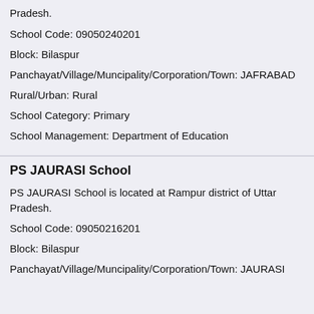PRIMA RABAD School is located at Rampur district of Uttar Pradesh.
School Code: 09050240201
Block: Bilaspur
Panchayat/Village/Muncipality/Corporation/Town: JAFRABAD
Rural/Urban: Rural
School Category: Primary
School Management: Department of Education
PS JAURASI School
PS JAURASI School is located at Rampur district of Uttar Pradesh.
School Code: 09050216201
Block: Bilaspur
Panchayat/Village/Muncipality/Corporation/Town: JAURASI